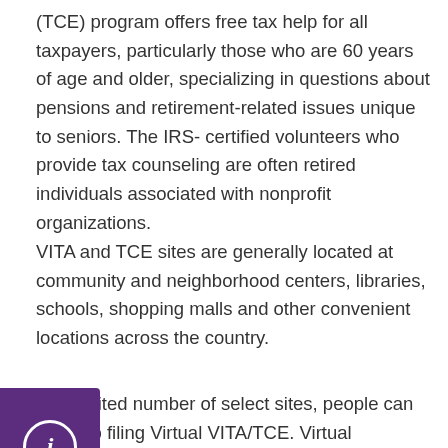(TCE) program offers free tax help for all taxpayers, particularly those who are 60 years of age and older, specializing in questions about pensions and retirement-related issues unique to seniors. The IRS- certified volunteers who provide tax counseling are often retired individuals associated with nonprofit organizations.
VITA and TCE sites are generally located at community and neighborhood centers, libraries, schools, shopping malls and other convenient locations across the country.
At a limited number of select sites, people can get help filing Virtual VITA/TCE. Virtual VITA/TCE uses video chat, screensharing, and other technologies to connect taxpayers with IRS-certified volunteers in different geographic locations.
A majority of the TCE sites are operated by the AARP